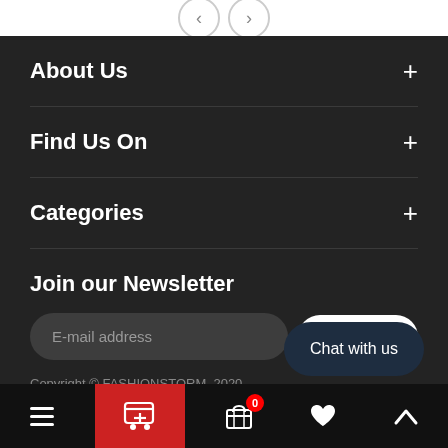About Us +
Find Us On +
Categories +
Join our Newsletter
E-mail address
SUBSCRIBE
Copyright © FASHIONSTORM, 2020
Chat with us